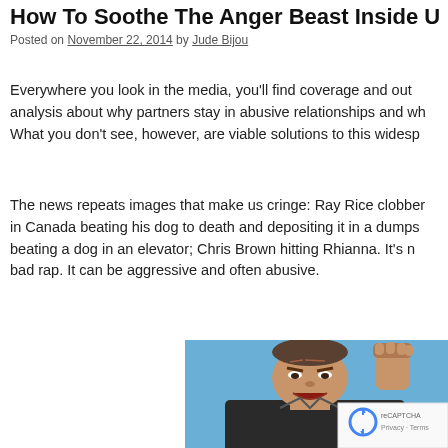How To Soothe The Anger Beast Inside U
Posted on November 22, 2014 by Jude Bijou
Everywhere you look in the media, you'll find coverage and out analysis about why partners stay in abusive relationships and wh What you don't see, however, are viable solutions to this widesp
The news repeats images that make us cringe: Ray Rice clobber in Canada beating his dog to death and depositing it in a dumps beating a dog in an elevator; Chris Brown hitting Rhianna. It's n bad rap. It can be aggressive and often abusive.
[Figure (photo): An angry man with clenched fist raised, mouth open, shouting, against a blue sky background. Bottom right corner has a reCAPTCHA privacy overlay.]